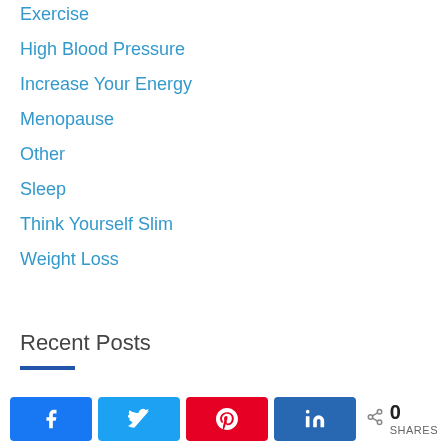Exercise
High Blood Pressure
Increase Your Energy
Menopause
Other
Sleep
Think Yourself Slim
Weight Loss
Recent Posts